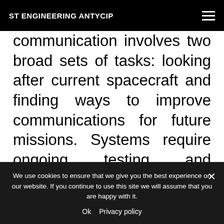ST ENGINEERING ANTYCIP
communication involves two broad sets of tasks: looking after current spacecraft and finding ways to improve communications for future missions. Systems require ongoing testing and refinement, while space agencies are also working to develop new capabilities. Therefore, there needs to be cost-effective testing
We use cookies to ensure that we give you the best experience on our website. If you continue to use this site we will assume that you are happy with it.
Ok   Privacy policy